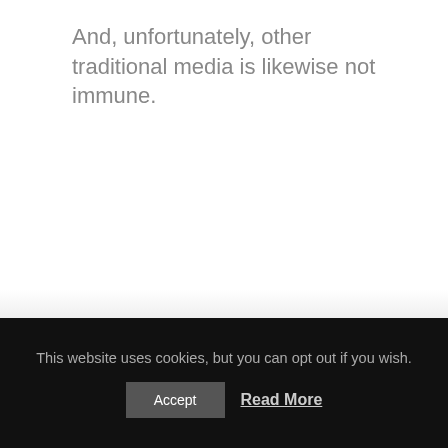And, unfortunately, other traditional media is likewise not immune.
This website uses cookies, but you can opt out if you wish.
Accept  Read More